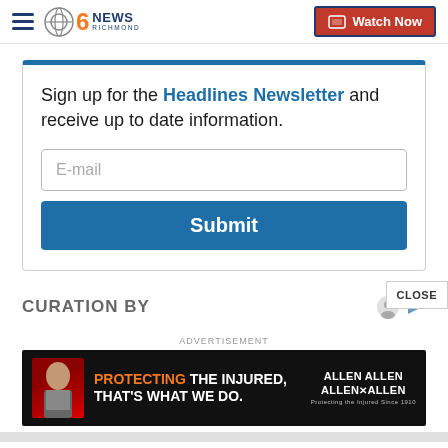CBS 6 News Richmond | Watch Now
Sign up for the Headlines Newsletter and receive up to date information.
[Figure (screenshot): Email input field with placeholder text 'E-mail' and a blue Submit button]
CURATION BY
ADVERTISEMENT
[Figure (photo): Allen Allen Allen & Allen law firm advertisement: 'PROTECTING THE INJURED, THAT'S WHAT WE DO.' with photo of attorney and firm logo]